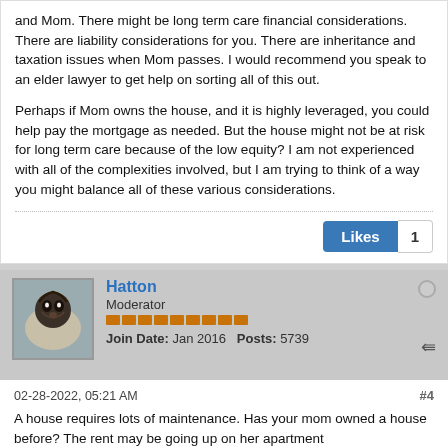and Mom. There might be long term care financial considerations. There are liability considerations for you. There are inheritance and taxation issues when Mom passes. I would recommend you speak to an elder lawyer to get help on sorting all of this out.

Perhaps if Mom owns the house, and it is highly leveraged, you could help pay the mortgage as needed. But the house might not be at risk for long term care because of the low equity? I am not experienced with all of the complexities involved, but I am trying to think of a way you might balance all of these various considerations.
Likes 1
Hatton
Moderator
Join Date: Jan 2016  Posts: 5739
02-28-2022, 05:21 AM   #4
A house requires lots of maintenance. Has your mom owned a house before? The rent may be going up on her apartment